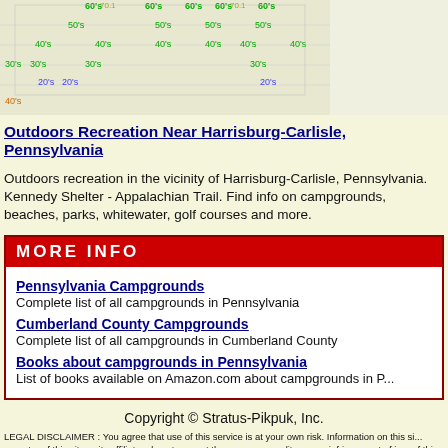[Figure (other): Weather temperature chart showing temperature bands (60s, 50s, 40s, 30s, 20s) with colored labels overlaid on a grid, partially visible at top of page]
Outdoors Recreation Near Harrisburg-Carlisle, Pennsylvania
Outdoors recreation in the vicinity of Harrisburg-Carlisle, Pennsylvania. Kennedy Shelter - Appalachian Trail. Find info on campgrounds, beaches, parks, whitewater, golf courses and more.
MORE INFO
Pennsylvania Campgrounds
Complete list of all campgrounds in Pennsylvania
Cumberland County Campgrounds
Complete list of all campgrounds in Cumberland County
Books about campgrounds in Pennsylvania
List of books available on Amazon.com about campgrounds in Pennsylvania
Copyright © Stratus-Pikpuk, Inc.
LEGAL DISCLAIMER: You agree that use of this service is at your own risk. Information on this site, operator of this site or its affiliates do not warrant the accuracy, quality, or noninfringement of information on this website or its affiliates will not be liable for any claims or damages resulting from use of information